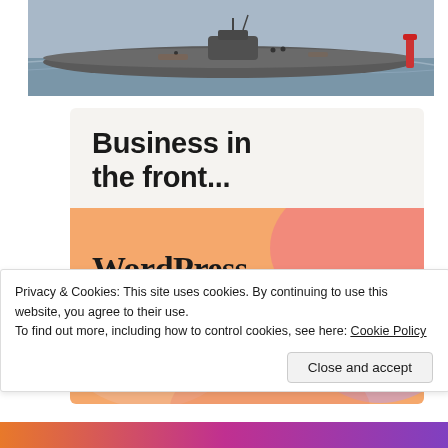[Figure (photo): A submarine visible on the water surface, grey hull, with a buoy visible at right and small figures on deck, grey sky background.]
[Figure (infographic): WordPress VIP advertisement. Top section on light grey background reads 'Business in the front...' in large bold text. Bottom orange gradient section reads 'WordPress in the back.' with WordPress VIP logo and 'Learn more →' button on dark pill.]
Privacy & Cookies: This site uses cookies. By continuing to use this website, you agree to their use.
To find out more, including how to control cookies, see here: Cookie Policy
Close and accept